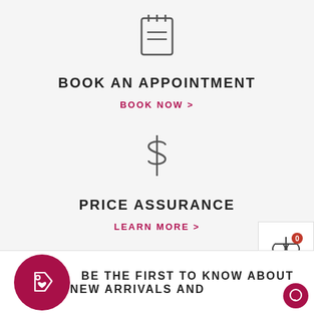[Figure (illustration): Notebook/notepad icon with two horizontal lines, outline style, dark gray]
BOOK AN APPOINTMENT
BOOK NOW >
[Figure (illustration): Dollar sign ($) icon, outline style, dark gray]
PRICE ASSURANCE
LEARN MORE >
[Figure (illustration): Balance/scales icon with badge showing 0, in a white square widget]
[Figure (logo): Dark pink/crimson circle with a price tag heart icon inside]
BE THE FIRST TO KNOW ABOUT NEW ARRIVALS AND
[Figure (illustration): Pink circle chat bubble icon, bottom right corner]